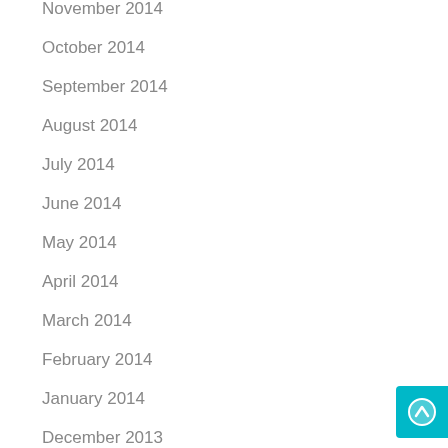November 2014
October 2014
September 2014
August 2014
July 2014
June 2014
May 2014
April 2014
March 2014
February 2014
January 2014
December 2013
November 2013
October 2013
[Figure (other): Teal scroll-to-top button with upward arrow icon in bottom-right corner]